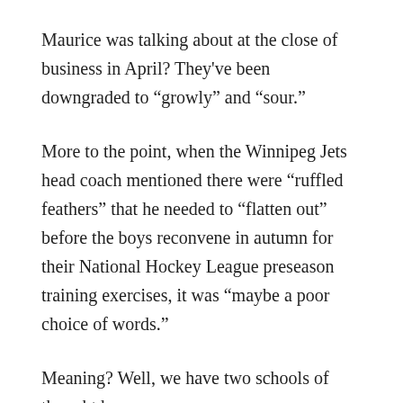Maurice was talking about at the close of business in April? They've been downgraded to “growly” and “sour.”
More to the point, when the Winnipeg Jets head coach mentioned there were “ruffled feathers” that he needed to “flatten out” before the boys reconvene in autumn for their National Hockey League preseason training exercises, it was “maybe a poor choice of words.”
Meaning? Well, we have two schools of thought here.
First, we can consider what Coach Potty Mouth said at his exit chin-wag with news snoops on the heels of Winnipeg HC’s one-and-done ouster from the Stanley Cup runoff. To refresh: “We’ve got a few ruffled feathers in there that